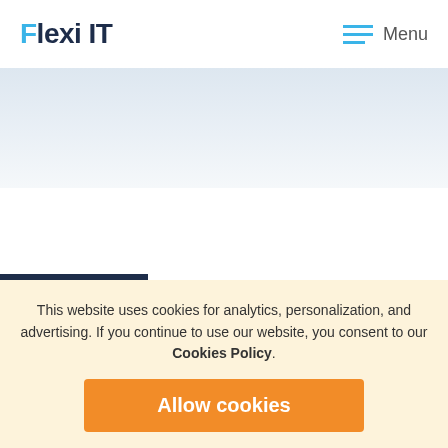Flexi IT  Menu
[Figure (screenshot): Light blue-grey gradient hero/banner area below the header]
[Figure (infographic): Dark navy blue hamburger menu icon box with three white horizontal lines]
About this Project
This website uses cookies for analytics, personalization, and advertising. If you continue to use our website, you consent to our Cookies Policy.
Allow cookies